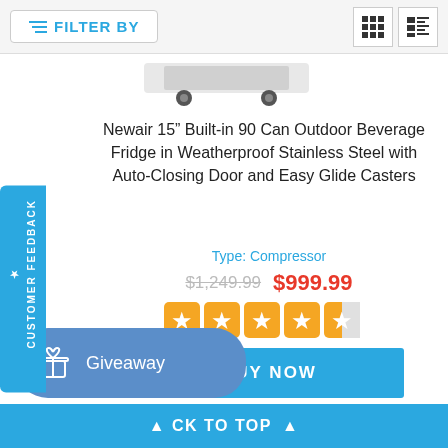FILTER BY
[Figure (photo): Bottom portion of a beverage fridge showing wheels/casters on white background]
Newair 15" Built-in 90 Can Outdoor Beverage Fridge in Weatherproof Stainless Steel with Auto-Closing Door and Easy Glide Casters
Type: Compressor
$1,249.99  $999.99
[Figure (other): 4.5 out of 5 star rating shown as orange stars]
BUY NOW
CUSTOMER FEEDBACK
Giveaway
ACK TO TOP ▲